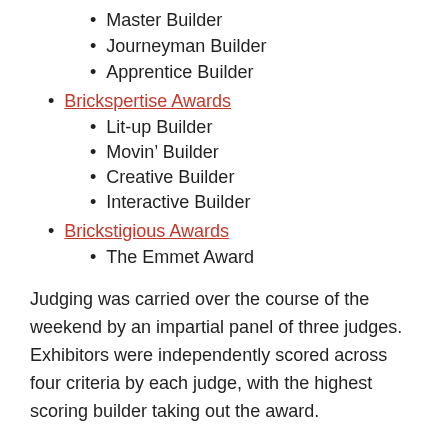Master Builder
Journeyman Builder
Apprentice Builder
Brickspertise Awards
Lit-up Builder
Movin’ Builder
Creative Builder
Interactive Builder
Brickstigious Awards
The Emmet Award
Judging was carried over the course of the weekend by an impartial panel of three judges. Exhibitors were independently scored across four criteria by each judge, with the highest scoring builder taking out the award.